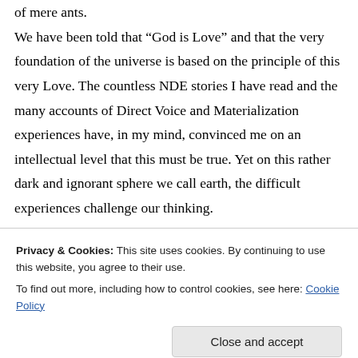of mere ants. We have been told that “God is Love” and that the very foundation of the universe is based on the principle of this very Love. The countless NDE stories I have read and the many accounts of Direct Voice and Materialization experiences have, in my mind, convinced me on an intellectual level that this must be true. Yet on this rather dark and ignorant sphere we call earth, the difficult experiences challenge our thinking.
Privacy & Cookies: This site uses cookies. By continuing to use this website, you agree to their use. To find out more, including how to control cookies, see here: Cookie Policy
about many things. When there are only good